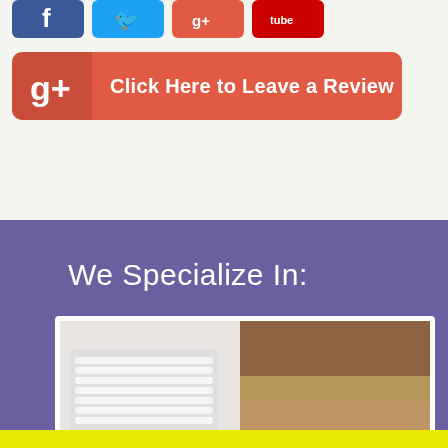[Figure (other): Row of four social media icon buttons: Facebook (blue), Twitter (cyan), Google+ (red-orange), YouTube (red)]
[Figure (other): Google+ red button with 'g+' icon on left and text 'Click Here to Leave a Review' on the right]
We Specialize In:
[Figure (photo): Photo of carpet flooring next to a white baseboard heating vent]
[Figure (other): Yellow bar at the bottom with a white phone/call icon in the center]